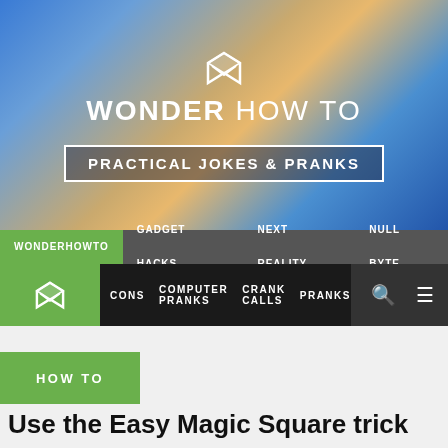[Figure (logo): WonderHowTo hero banner with logo icon, brand name WONDER HOW TO, and PRACTICAL JOKES & PRANKS category box on a colorful gradient background]
WONDERHOWTO  GADGET HACKS  NEXT REALITY  NULL BYTE
CONS  COMPUTER PRANKS  CRANK CALLS  PRANKS
HOW TO
Use the Easy Magic Square trick